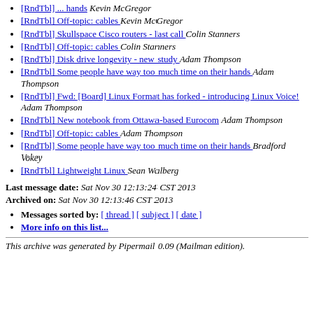[RndTbl] ... hands  Kevin McGregor
[RndTbl] Off-topic: cables  Kevin McGregor
[RndTbl] Skullspace Cisco routers - last call  Colin Stanners
[RndTbl] Off-topic: cables  Colin Stanners
[RndTbl] Disk drive longevity - new study  Adam Thompson
[RndTbl] Some people have way too much time on their hands  Adam Thompson
[RndTbl] Fwd: [Board] Linux Format has forked - introducing Linux Voice!  Adam Thompson
[RndTbl] New notebook from Ottawa-based Eurocom  Adam Thompson
[RndTbl] Off-topic: cables  Adam Thompson
[RndTbl] Some people have way too much time on their hands  Bradford Vokey
[RndTbl] Lightweight Linux  Sean Walberg
Last message date: Sat Nov 30 12:13:24 CST 2013
Archived on: Sat Nov 30 12:13:46 CST 2013
Messages sorted by: [ thread ] [ subject ] [ date ]
More info on this list...
This archive was generated by Pipermail 0.09 (Mailman edition).